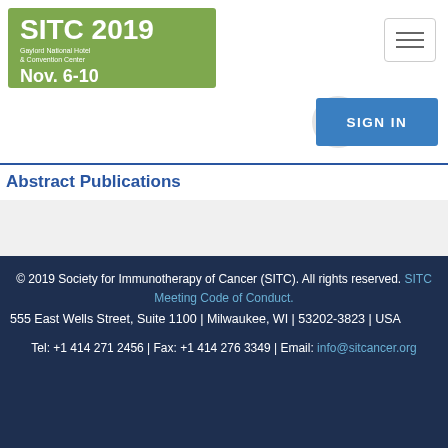[Figure (logo): SITC 2019 conference logo banner with green background showing 'SITC 2019', 'Gaylord National Hotel & Convention Center', and 'Nov. 6-10']
Abstract Publications
© 2019 Society for Immunotherapy of Cancer (SITC). All rights reserved. SITC Meeting Code of Conduct. 555 East Wells Street, Suite 1100 | Milwaukee, WI | 53202-3823 | USA

Tel: +1 414 271 2456 | Fax: +1 414 276 3349 | Email: info@sitcancer.org